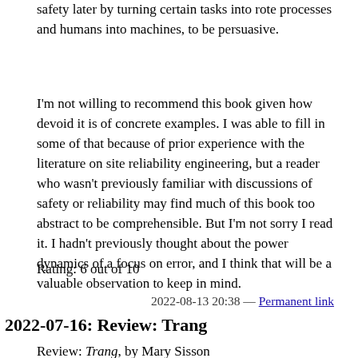safety later by turning certain tasks into rote processes and humans into machines, to be persuasive.
I'm not willing to recommend this book given how devoid it is of concrete examples. I was able to fill in some of that because of prior experience with the literature on site reliability engineering, but a reader who wasn't previously familiar with discussions of safety or reliability may find much of this book too abstract to be comprehensible. But I'm not sorry I read it. I hadn't previously thought about the power dynamics of a focus on error, and I think that will be a valuable observation to keep in mind.
Rating: 6 out of 10
2022-08-13 20:38 — Permanent link
2022-07-16: Review: Trang
Review: Trang, by Mary Sisson